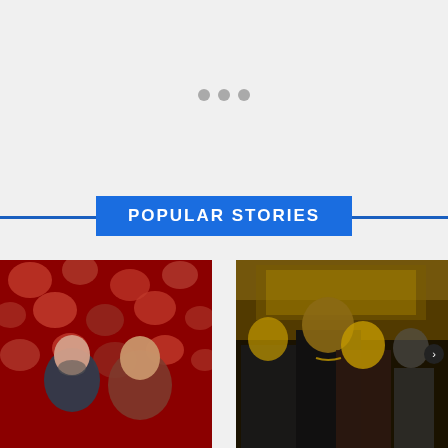[Figure (other): Loading indicator with three gray dots centered on a light gray background]
POPULAR STORIES
[Figure (photo): Man and woman posing in front of red floral background (roses)]
[Figure (photo): Man and woman posing in an ornate golden interior setting, group photo]